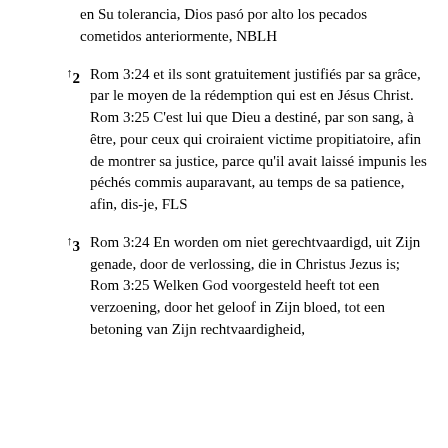en Su tolerancia, Dios pasó por alto los pecados cometidos anteriormente, NBLH
↑2 Rom 3:24 et ils sont gratuitement justifiés par sa grâce, par le moyen de la rédemption qui est en Jésus Christ. Rom 3:25 C'est lui que Dieu a destiné, par son sang, à être, pour ceux qui croiraient victime propitiatoire, afin de montrer sa justice, parce qu'il avait laissé impunis les péchés commis auparavant, au temps de sa patience, afin, dis-je, FLS
↑3 Rom 3:24 En worden om niet gerechtvaardigd, uit Zijn genade, door de verlossing, die in Christus Jezus is; Rom 3:25 Welken God voorgesteld heeft tot een verzoening, door het geloof in Zijn bloed, tot een betoning van Zijn rechtvaardigheid,